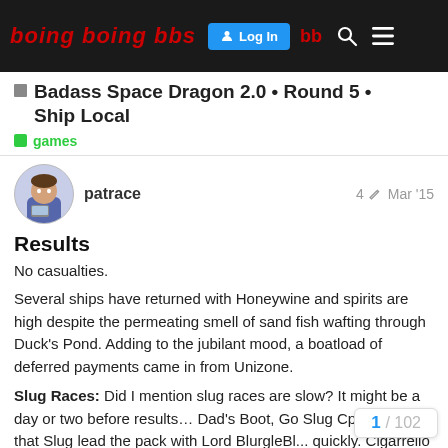Boing Boing BBS — Log In
Badass Space Dragon 2.0 • Round 5 • Ship Local
games
patrace  4  Mar '15
Results
No casualties.
Several ships have returned with Honeywine and spirits are high despite the permeating smell of sand fish wafting through Duck's Pond. Adding to the jubilant mood, a boatload of deferred payments came in from Unizone.
Slug Races: Did I mention slug races are slow? It might be a day or two before results… Dad's Boot, Go Slug Cpt and Mi... that Slug lead the pack with Lord BlurgleBl... quickly. Cigarrello sputtered out and Hot Ho...
1 / 102